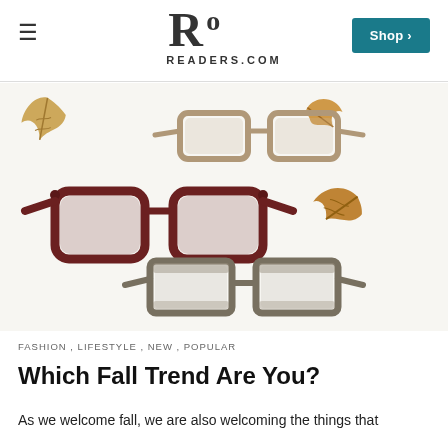READERS.COM
[Figure (photo): Three pairs of reading glasses arranged on a white background with autumn oak leaves scattered around them. Top pair is a taupe/beige rectangular frame, middle pair is a dark tortoiseshell/burgundy wayfarer style, bottom pair is a gray/brown striped rectangular frame.]
FASHION , LIFESTYLE , NEW , POPULAR
Which Fall Trend Are You?
As we welcome fall, we are also welcoming the things that